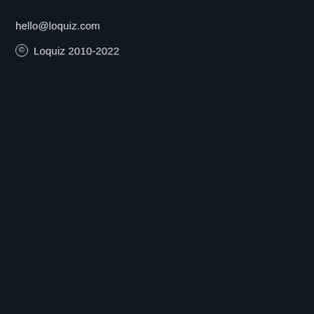hello@loquiz.com
© Loquiz 2010-2022